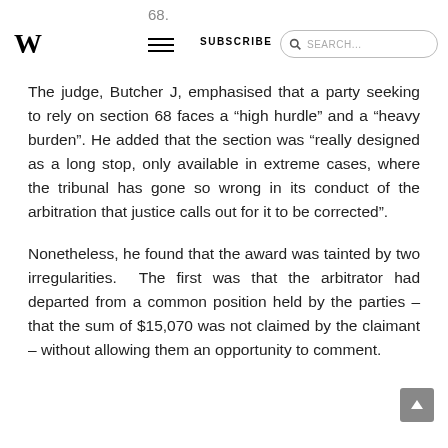68.
The judge, Butcher J, emphasised that a party seeking to rely on section 68 faces a “high hurdle” and a “heavy burden”. He added that the section was “really designed as a long stop, only available in extreme cases, where the tribunal has gone so wrong in its conduct of the arbitration that justice calls out for it to be corrected”.
Nonetheless, he found that the award was tainted by two irregularities. The first was that the arbitrator had departed from a common position held by the parties – that the sum of $15,070 was not claimed by the claimant – without allowing them an opportunity to comment.